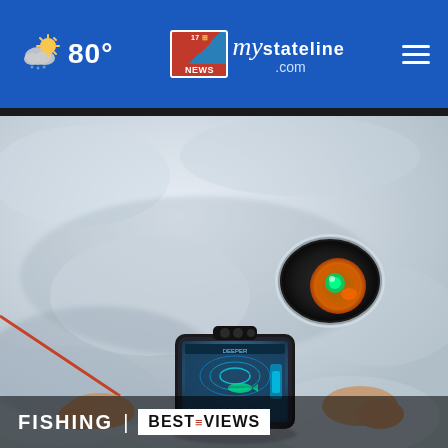80° | mystateline.com NEWS
[Figure (photo): Ice fishing scene: person holding smartphone with fish finder app, a hole drilled in ice with orange/green sonar device visible, snowy ice surface background]
FISHING | BESTREVIEWS